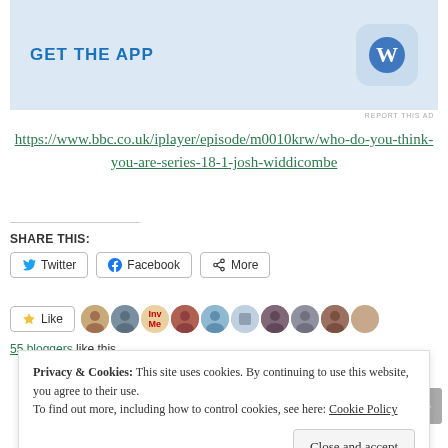[Figure (screenshot): Ad banner with 'GET THE APP' text and WordPress logo on light blue background]
REPORT THIS AD
https://www.bbc.co.uk/iplayer/episode/m0010krw/who-do-you-think-you-are-series-18-1-josh-widdicombe
SHARE THIS:
Twitter
Facebook
More
Like
55 bloggers like this.
Privacy & Cookies: This site uses cookies. By continuing to use this website, you agree to their use.
To find out more, including how to control cookies, see here: Cookie Policy
Close and accept